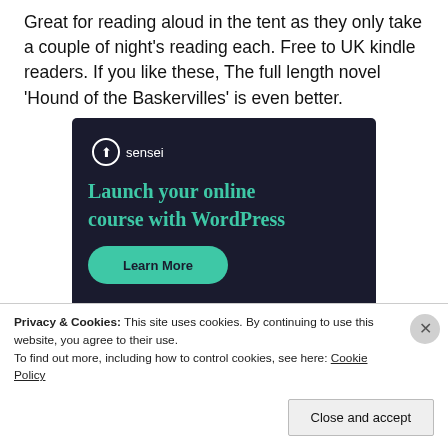Great for reading aloud in the tent as they only take a couple of night's reading each. Free to UK kindle readers. If you like these, The full length novel 'Hound of the Baskervilles' is even better.
[Figure (other): Sensei advertisement: dark navy background with Sensei logo (tree in a circle), headline 'Launch your online course with WordPress', and a teal 'Learn More' pill button.]
Privacy & Cookies: This site uses cookies. By continuing to use this website, you agree to their use. To find out more, including how to control cookies, see here: Cookie Policy
Close and accept